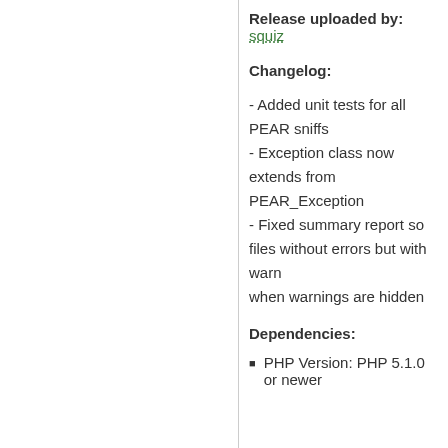Release uploaded by: squiz
Changelog:
- Added unit tests for all PEAR sniffs
- Exception class now extends from PEAR_Exception
- Fixed summary report so files without errors but with warnings are not shown when warnings are hidden
Dependencies:
PHP Version: PHP 5.1.0 or newer
0.1.0
Easy Install
Not sure? Get more info.
pear install PHP_CodeSniffer-0.1.0
Pyrus Install
Try PEAR2's installer, Pyrus.
php pyrus.phar install pear/PHP_CodeSniffer-0.1.0
Download
For manual installation only